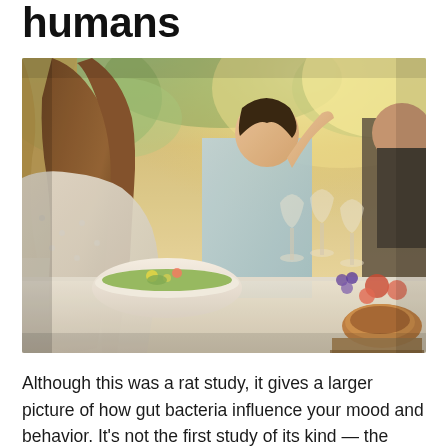humans
[Figure (photo): People sitting at an outdoor dining table with food, salad bowls, wine glasses, and various dishes. Two women are visible in the foreground in warm sunlit setting.]
Although this was a rat study, it gives a larger picture of how gut bacteria influence your mood and behavior. It's not the first study of its kind — the body of knowledge